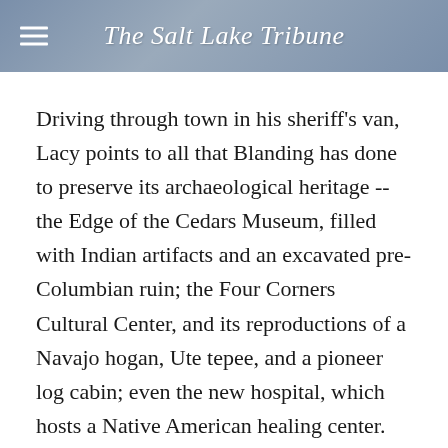The Salt Lake Tribune
Driving through town in his sheriff's van, Lacy points to all that Blanding has done to preserve its archaeological heritage -- the Edge of the Cedars Museum, filled with Indian artifacts and an excavated pre-Columbian ruin; the Four Corners Cultural Center, and its reproductions of a Navajo hogan, Ute tepee, and a pioneer log cabin; even the new hospital, which hosts a Native American healing center.